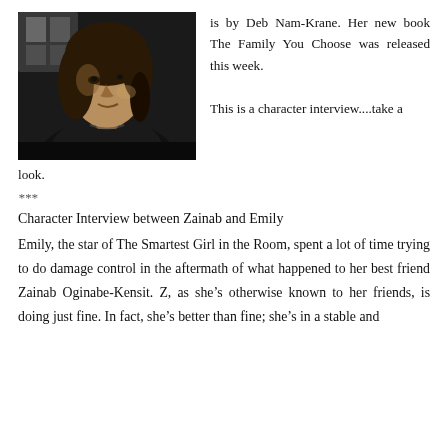[Figure (photo): Black and white portrait photo of a woman, Deb Nam-Krane, smiling slightly, with shoulder-length hair, seated near a window.]
is by Deb Nam-Krane. Her new book The Family You Choose was released this week.

This is a character interview....take a look.
***
Character Interview between Zainab and Emily
Emily, the star of The Smartest Girl in the Room, spent a lot of time trying to do damage control in the aftermath of what happened to her best friend Zainab Oginabe-Kensit. Z, as she’s otherwise known to her friends, is doing just fine. In fact, she’s better than fine; she’s in a stable and